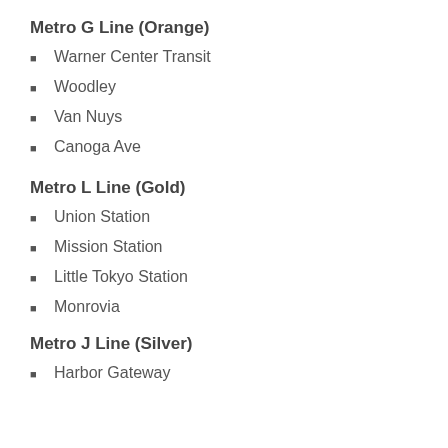Metro G Line (Orange)
Warner Center Transit
Woodley
Van Nuys
Canoga Ave
Metro L Line (Gold)
Union Station
Mission Station
Little Tokyo Station
Monrovia
Metro J Line (Silver)
Harbor Gateway